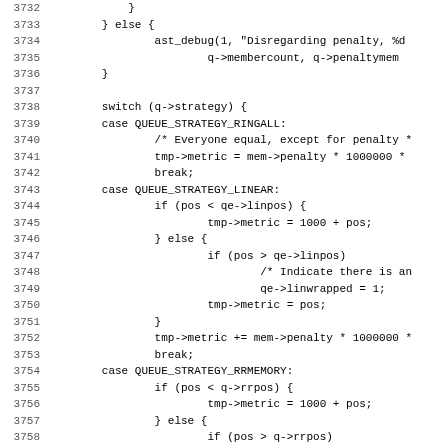Source code listing, lines 3732-3763, showing C switch statement for queue strategy handling (RINGALL, LINEAR, RRMEMORY)